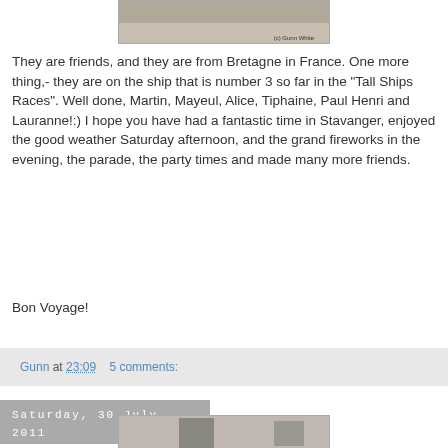[Figure (photo): Partial photo showing people's feet/shoes on ground, copyright Gunn White watermark]
They are friends, and they are from Bretagne in France.
One more thing,- they are on the ship that is number 3 so far in the "Tall Ships Races".
Well done, Martin, Mayeul, Alice, Tiphaine, Paul Henri and Lauranne!:)
I hope you have had a fantastic time in Stavanger, enjoyed the good weather Saturday afternoon, and the grand fireworks in the evening, the parade, the party times and made many more friends.
Bon Voyage!
Gunn at 23:09    5 comments:
Saturday, 30 July 2011
[Figure (photo): Partial view of another photo at bottom of page]